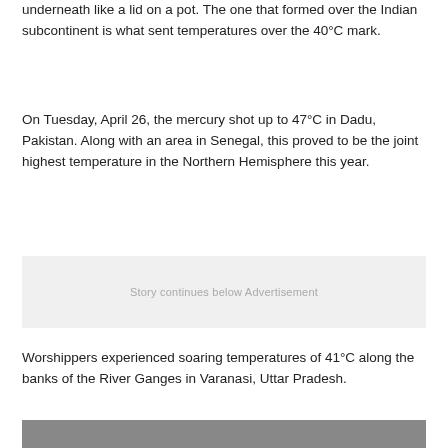underneath like a lid on a pot. The one that formed over the Indian subcontinent is what sent temperatures over the 40°C mark.
On Tuesday, April 26, the mercury shot up to 47°C in Dadu, Pakistan. Along with an area in Senegal, this proved to be the joint highest temperature in the Northern Hemisphere this year.
Story continues below Advertisement
Worshippers experienced soaring temperatures of 41°C along the banks of the River Ganges in Varanasi, Uttar Pradesh.
[Figure (photo): Partial view of a photograph at the bottom of the page, showing a dark scene near the River Ganges]